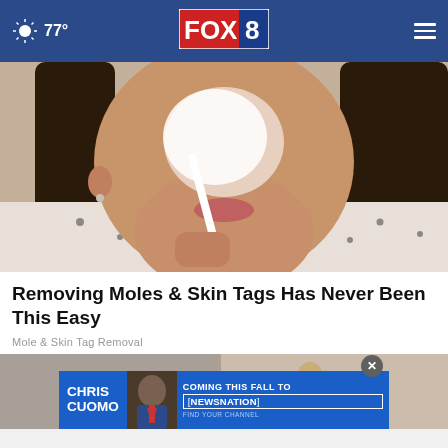77° FOX 8
[Figure (photo): Woman applying white cream to her nose and face area with a toothbrush-like applicator, dark hair, wearing patterned shirt]
Removing Moles & Skin Tags Has Never Been This Easy
Mole & Skin Tag Removal
[Figure (photo): Partial view of a second article image at the bottom, partially obscured by an advertisement overlay]
[Figure (infographic): Advertisement banner: Chris Cuomo Coming This Fall To NewsNation - Find Your Channel]